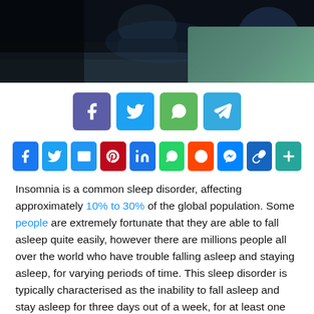[Figure (photo): Dark bedroom photo showing a person sitting on a bed at night, lit dimly with blue tones. A green/teal rug or mat is visible in the lower right corner.]
[Figure (infographic): Social share buttons row (top): Facebook (purple-blue), Twitter (light blue), WhatsApp (green), Telegram (blue)]
[Figure (infographic): Social share buttons row (bottom): Facebook, Twitter, Email, Pinterest, LinkedIn, WhatsApp, Reddit, Messenger, Copy link, Add]
Insomnia is a common sleep disorder, affecting approximately 10% to 30% of the global population. Some people are extremely fortunate that they are able to fall asleep quite easily, however there are millions people all over the world who have trouble falling asleep and staying asleep, for varying periods of time. This sleep disorder is typically characterised as the inability to fall asleep and stay asleep for three days out of a week, for at least one month.